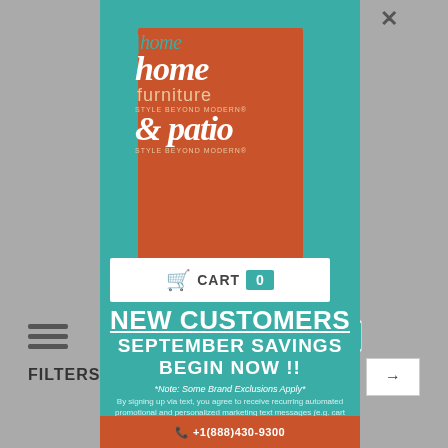[Figure (logo): Home Home Furniture & Patio logo — orange square with teal and white text reading 'home home furniture & patio STYLE BEYOND MODERN']
[Figure (screenshot): Cart bar showing shopping cart icon, 'CART' label, and count of 0]
NEW CUSTOMERS
SEPTEMBER SAVINGS BEGIN NOW !!
*Note: Some Brand Exclusions Apply*
By signing up via text, you agree to receive recurring automated promotional and personalized marketing text messages (e.g. cart reminders) at the cell number used when signing up. Consent is not a condition of any purchase. Reply STOP to cancel. Msg frequency varies. Msg and data rates may apply. View TERMS
FILTERS
+1(888)430-9300